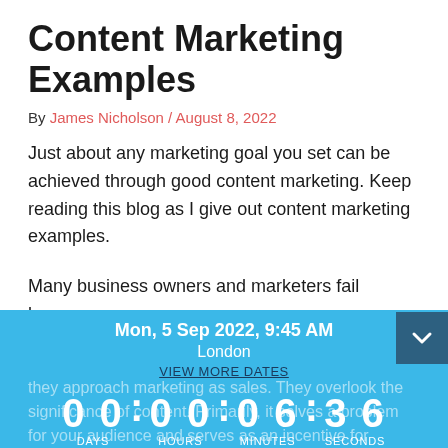Content Marketing Examples
By James Nicholson / August 8, 2022
Just about any marketing goal you set can be achieved through good content marketing. Keep reading this blog as I give out content marketing examples.
Many business owners and marketers fail because they approach marketing as sales. They overlook the significance of content. Primarily, it solves a problem for your audience and serves as an incentive for readers to provide personal details.
[Figure (infographic): Blue overlay popup showing event countdown widget with date Mon, 5 Sep 2022, 9:45 AM, location London, VIEW MORE DATES link, countdown timer showing 00 DAYS 00 HOURS 06 MINUTES 36 SECONDS, and a REGISTER button. A teal chevron-down button appears at top-right.]